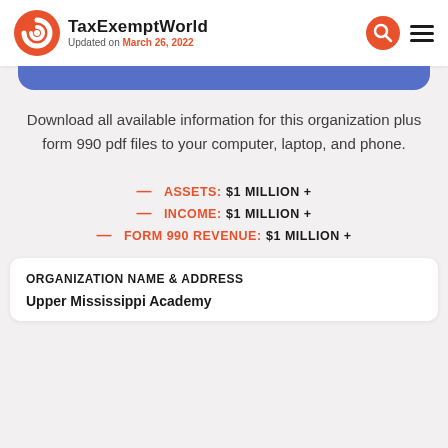TaxExemptWorld — Updated on March 26, 2022
Download all available information for this organization plus form 990 pdf files to your computer, laptop, and phone.
— ASSETS: $1 MILLION +
— INCOME: $1 MILLION +
— FORM 990 REVENUE: $1 MILLION +
ORGANIZATION NAME & ADDRESS
Upper Mississippi Academy